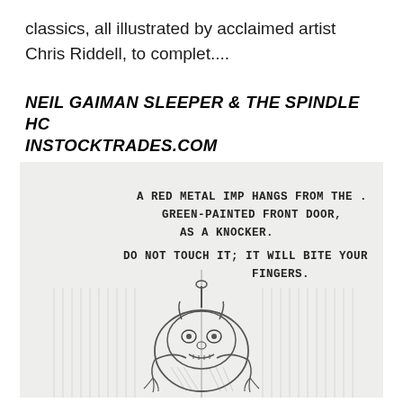classics, all illustrated by acclaimed artist Chris Riddell, to complet....
NEIL GAIMAN SLEEPER & THE SPINDLE HC
INSTOCKTRADES.COM
[Figure (illustration): Sketch illustration from Neil Gaiman's 'Sleeper & the Spindle'. Handwritten text reads: 'A RED METAL IMP HANGS FROM THE GREEN-PAINTED FRONT DOOR, AS A KNOCKER. DO NOT TOUCH IT; IT WILL BITE YOUR FINGERS.' Below is a pencil sketch of a grotesque imp/creature clinging to what appears to be a door, rendered in crosshatch pencil style.]